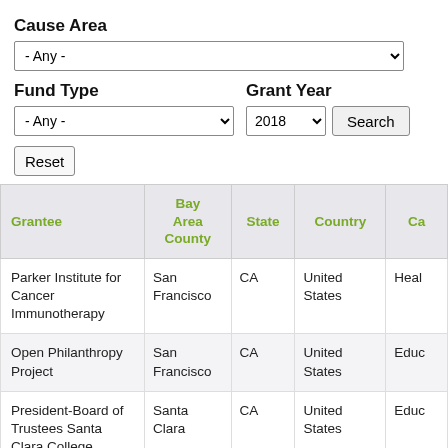Cause Area
- Any - (dropdown)
Fund Type
Grant Year
- Any - (dropdown) | 2018 (dropdown) | Search (button)
Reset (button)
| Grantee | Bay Area County | State | Country | Ca... |
| --- | --- | --- | --- | --- |
| Parker Institute for Cancer Immunotherapy | San Francisco | CA | United States | Heal... |
| Open Philanthropy Project | San Francisco | CA | United States | Educ... |
| President-Board of Trustees Santa Clara College | Santa Clara | CA | United States | Educ... |
| Parker Institute for Cancer Immunotherapy | San Francisco | CA | United States | Heal... |